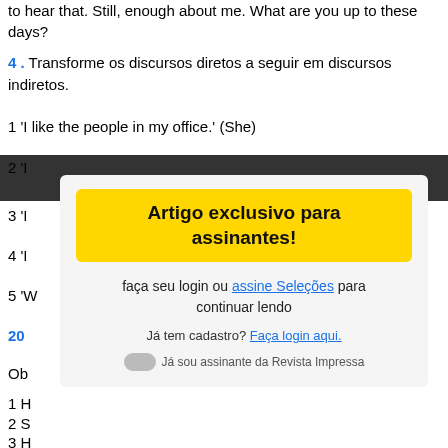to hear that. Still, enough about me. What are you up to these days?
4 . Transforme os discursos diretos a seguir em discursos indiretos.
1 'I like the people in my office.' (She)
2 'I …' (partially obscured)
3 'I …'
4 'I …'
5 'W …'
20 …
Ob …
1 H …
2 S …
3 H …
[Figure (other): Paywall overlay with yellow banner 'Artigo exclusivo para assinantes!' and login/subscribe prompt in Portuguese.]